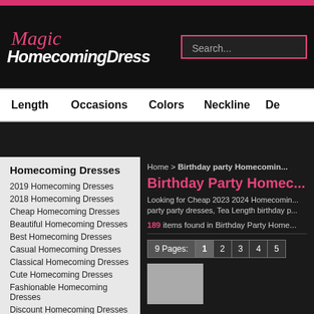[Figure (screenshot): Pink top bar at top of page]
[Figure (logo): Magic HomecomingDress logo with search box on black background]
Length   Occasions   Colors   Neckline   De...
Homecoming Dresses
2019 Homecoming Dresses
2018 Homecoming Dresses
Cheap Homecoming Dresses
Beautiful Homecoming Dresses
Best Homecoming Dresses
Casual Homecoming Dresses
Classical Homecoming Dresses
Cute Homecoming Dresses
Fashionable Homecoming Dresses
Discount Homecoming Dresses
Home > Birthday party Homecomin...
Birthday Party Homec...
Looking for Cheap 2023 2024 Homecomin... party party dresses, Tea Length birthday p...
189   items found in Birthday Party Home...
9 Pages:   1   2   3   4   5
[Figure (photo): Product photo of a homecoming dress]